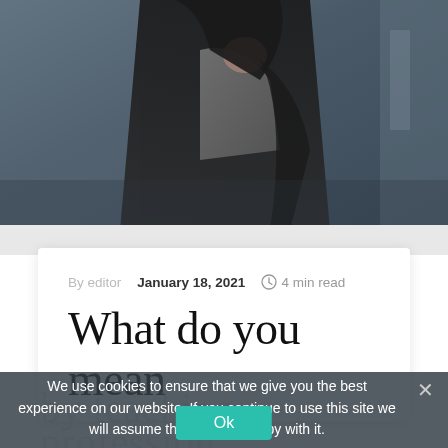[Figure (photo): Woman in dark jacket with hand near face, dark hair, blurred urban background]
By editor   January 18, 2021   4 min read
What do you mean
by teaching
profession
We use cookies to ensure that we give you the best experience on our website. If you continue to use this site we will assume that you are happy with it.
Ok